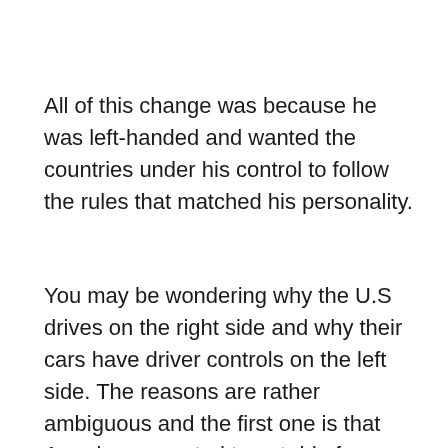All of this change was because he was left-handed and wanted the countries under his control to follow the rules that matched his personality.
You may be wondering why the U.S drives on the right side and why their cars have driver controls on the left side. The reasons are rather ambiguous and the first one is that Americans wanted to get rid of any traces of British colonization, the second reason is primarily because of the mechanics of old horse wagons